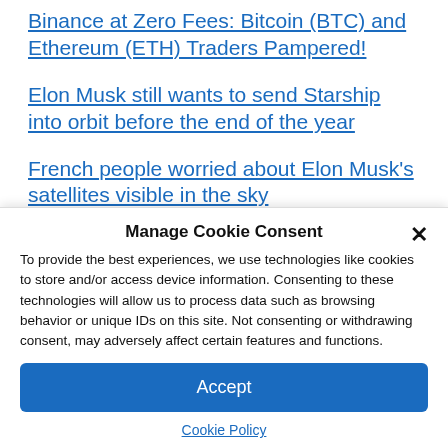Binance at Zero Fees: Bitcoin (BTC) and Ethereum (ETH) Traders Pampered!
Elon Musk still wants to send Starship into orbit before the end of the year
French people worried about Elon Musk's satellites visible in the sky
Elon Musk rants
Manage Cookie Consent
To provide the best experiences, we use technologies like cookies to store and/or access device information. Consenting to these technologies will allow us to process data such as browsing behavior or unique IDs on this site. Not consenting or withdrawing consent, may adversely affect certain features and functions.
Accept
Cookie Policy